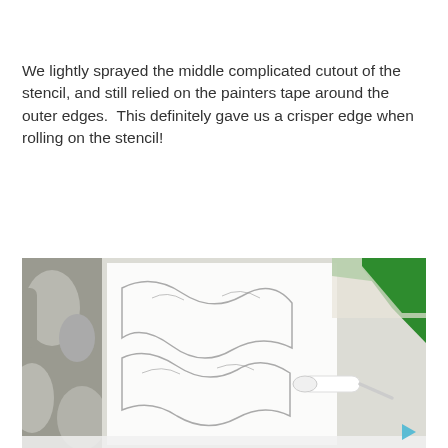We lightly sprayed the middle complicated cutout of the stencil, and still relied on the painters tape around the outer edges.  This definitely gave us a crisper edge when rolling on the stencil!
[Figure (photo): Close-up photo of a paint roller applying white paint onto a white decorative stencil attached to a wall. Green painter's tape is visible on the right side and along the top corner of the wall. The stencil has intricate cutout patterns. The background shows a gray patterned wall on the left.]